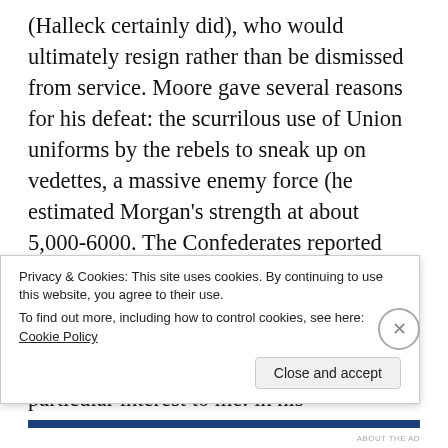(Halleck certainly did), who would ultimately resign rather than be dismissed from service. Moore gave several reasons for his defeat: the scurrilous use of Union uniforms by the rebels to sneak up on vedettes, a massive enemy force (he estimated Morgan's strength at about 5,000-6000. The Confederates reported having 1,200 men), the “shameful” retreat of one of his regiments, and popular support from the Tennessee locals.[3] However, one additional reason was of particular interest to me: in his
Privacy & Cookies: This site uses cookies. By continuing to use this website, you agree to their use.
To find out more, including how to control cookies, see here: Cookie Policy
Close and accept